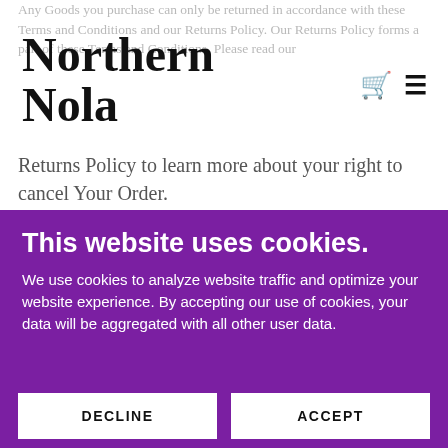Any Goods you purchase can only be returned in accordance with these Terms and Conditions and our Returns Policy. Our Returns Policy forms a part of these Terms and Conditions. Please read our Returns Policy to learn more about your right to cancel Your Order.
Northern Nola
This website uses cookies.
We use cookies to analyze website traffic and optimize your website experience. By accepting our use of cookies, your data will be aggregated with all other user data.
DECLINE
ACCEPT